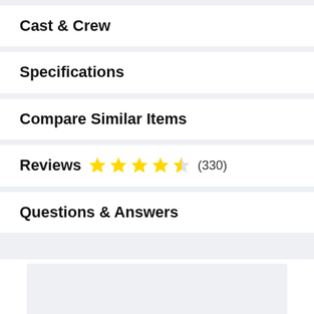Cast & Crew
Specifications
Compare Similar Items
Reviews ★★★★½ (330)
Questions & Answers